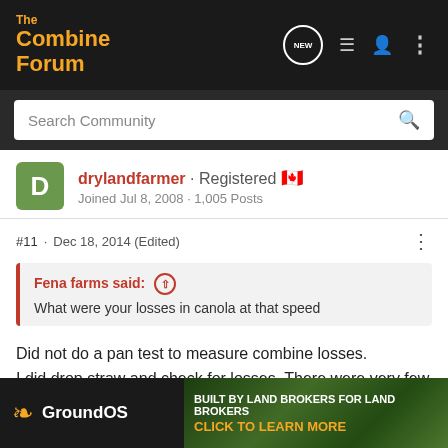The Combine Forum
Search Community
drylandfarmer · Registered 🇨🇦
Joined Jul 8, 2008 · 1,005 Posts
#11 · Dec 18, 2014 (Edited)
Fena farms said: ↑
What were your losses in canola at that speed
Did not do a pan test to measure combine losses.
I did drop straw and check for losses. There were very few if any seeds leaving the machine. The loss monitors are also very accurate and sensitive on the Lexion. Cemo's automatic also in play here. The Lexion can eat a lot of canola and keep it in the machine
[Figure (screenshot): GroundOS advertisement banner: 'BUILT BY LAND BROKERS FOR LAND BROKERS · CLICK TO LEARN MORE' with leaf logo and forest background image]